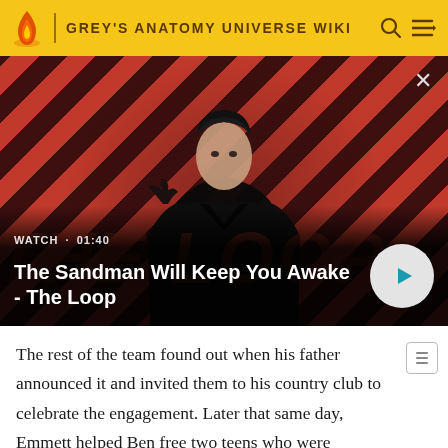GREY'S ANATOMY UNIVERSE WIKI
[Figure (screenshot): Video thumbnail showing a dark figure in a black coat with a raven on shoulder, against a diagonal red and dark brown stripe background. Text overlay: WATCH · 01:40, The Sandman Will Keep You Awake - The Loop. A play button circle is on the right.]
The rest of the team found out when his father announced it and invited them to his country club to celebrate the engagement. Later that same day, Emmett helped Ben free two teens who were handcuffed to each other. The girl, Dara Agate, then started seizing. After